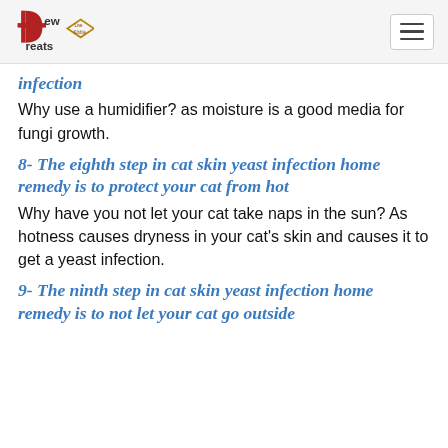Dew Treats
infection
Why use a humidifier? as moisture is a good media for fungi growth.
8- The eighth step in cat skin yeast infection home remedy is to protect your cat from hot
Why have you not let your cat take naps in the sun? As hotness causes dryness in your cat's skin and causes it to get a yeast infection.
9- The ninth step in cat skin yeast infection home remedy is to not let your cat go outside